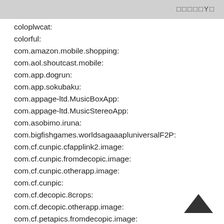□□□□□Y□
coloplwcat:
colorful:
com.amazon.mobile.shopping:
com.aol.shoutcast.mobile:
com.app.dogrun:
com.app.sokubaku:
com.appage-ltd.MusicBoxApp:
com.appage-ltd.MusicStereoApp:
com.asobimo.iruna:
com.bigfishgames.worldsagaaapluniversalF2P:
com.cf.cunpic.cfapplink2.image:
com.cf.cunpic.fromdecopic.image:
com.cf.cunpic.otherapp.image:
com.cf.cunpic:
com.cf.decopic.8crops:
com.cf.decopic.otherapp.image:
com.cf.petapics.fromdecopic.image: